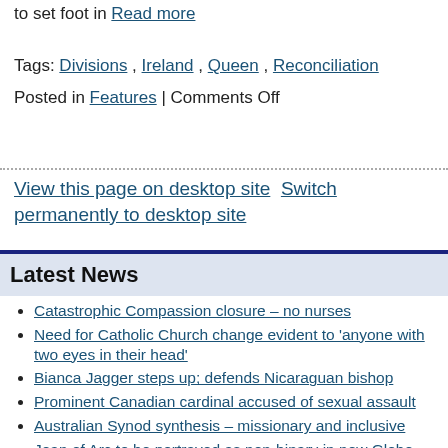to set foot in Read more
Tags: Divisions , Ireland , Queen , Reconciliation
Posted in Features | Comments Off
View this page on desktop site  Switch permanently to desktop site
Latest News
Catastrophic Compassion closure – no nurses
Need for Catholic Church change evident to 'anyone with two eyes in their head'
Bianca Jagger steps up; defends Nicaraguan bishop
Prominent Canadian cardinal accused of sexual assault
Australian Synod synthesis – missionary and inclusive
Joan of Arc to be portrayed as non-binary in new Globe Theatre production